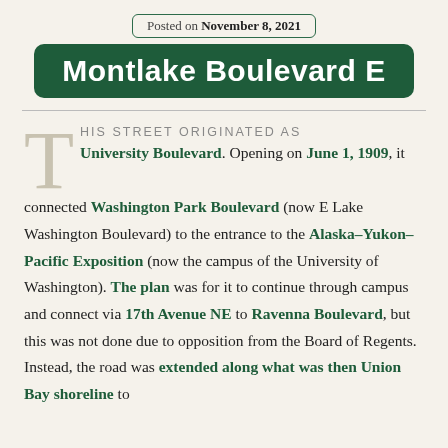Posted on November 8, 2021
Montlake Boulevard E
THIS STREET ORIGINATED AS University Boulevard. Opening on June 1, 1909, it connected Washington Park Boulevard (now E Lake Washington Boulevard) to the entrance to the Alaska–Yukon–Pacific Exposition (now the campus of the University of Washington). The plan was for it to continue through campus and connect via 17th Avenue NE to Ravenna Boulevard, but this was not done due to opposition from the Board of Regents. Instead, the road was extended along what was then Union Bay shoreline to